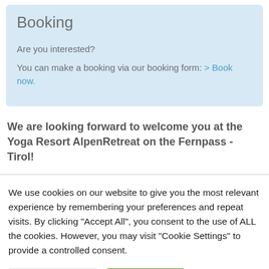Booking
Are you interested?
You can make a booking via our booking form: > Book now.
We are looking forward to welcome you at the Yoga Resort AlpenRetreat on the Fernpass - Tirol!
We use cookies on our website to give you the most relevant experience by remembering your preferences and repeat visits. By clicking "Accept All", you consent to the use of ALL the cookies. However, you may visit "Cookie Settings" to provide a controlled consent.